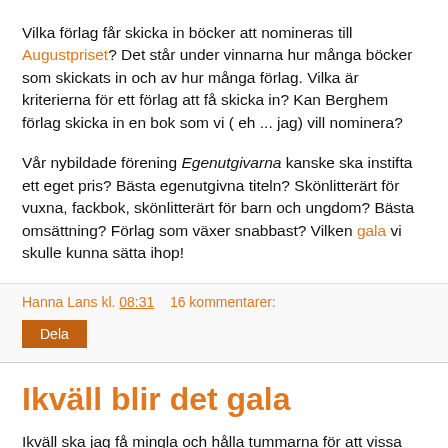Vilka förlag får skicka in böcker att nomineras till Augustpriset? Det står under vinnarna hur många böcker som skickats in och av hur många förlag. Vilka är kriterierna för ett förlag att få skicka in? Kan Berghem förlag skicka in en bok som vi ( eh ... jag) vill nominera?
Vår nybildade förening Egenutgivarna kanske ska instifta ett eget pris? Bästa egenutgivna titeln? Skönlitterärt för vuxna, fackbok, skönlitterärt för barn och ungdom? Bästa omsättning? Förlag som växer snabbast? Vilken gala vi skulle kunna sätta ihop!
Hanna Lans kl. 08:31     16 kommentarer:
Dela
Ikväll blir det gala
Ikväll ska jag få mingla och hålla tummarna för att vissa